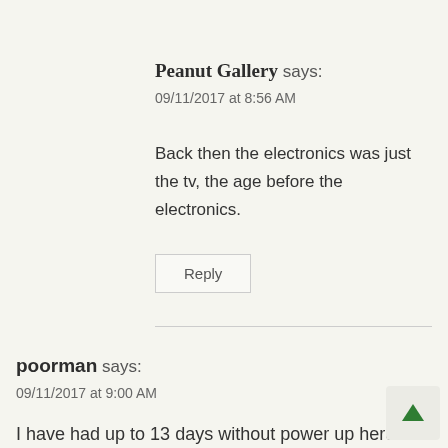Peanut Gallery says:
09/11/2017 at 8:56 AM
Back then the electronics was just the tv, the age before the electronics.
Reply
poorman says:
09/11/2017 at 9:00 AM
I have had up to 13 days without power up here the mountains. The worst time was in the beginning